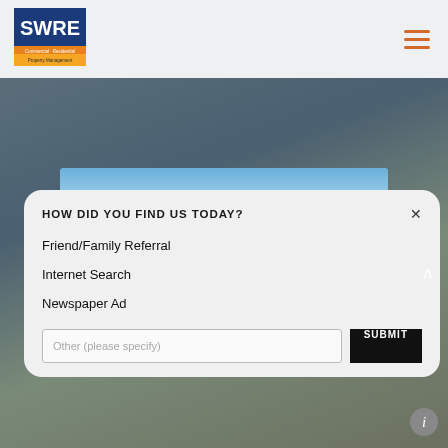[Figure (logo): SWRE company logo with blue background and orange/yellow text bands]
[Figure (photo): House rooftops against blue sky with clouds]
[Figure (screenshot): Modal dialog asking 'HOW DID YOU FIND US TODAY?' with options Friend/Family Referral, Internet Search, Newspaper Ad, and an Other text input with SUBMIT button]